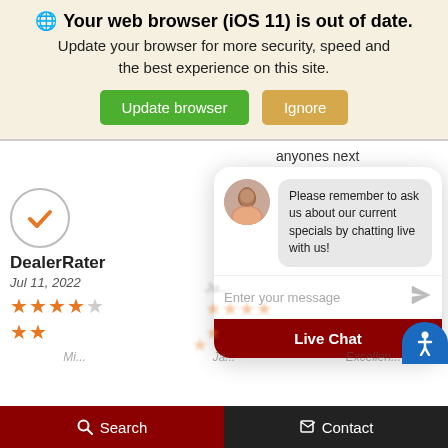🌐 Your web browser (iOS 11) is out of date. Update your browser for more security, speed and the best experience on this site.
[Figure (screenshot): Browser update warning banner with 'Update browser' green button and 'Ignore' tan button on cream background]
anyones next lease or purchase. Thank you Cristian and
[Figure (screenshot): Live chat popup with avatar of a young man, message bubble saying 'Please remember to ask us about our current specials by chatting live with us!', an input field 'Enter your message', and a dark red 'Live Chat' button]
DealerRater
Jul 11, 2022
[Figure (other): Orange checkmark in a circle, 4 out of 5 orange stars review rating]
Search   Contact